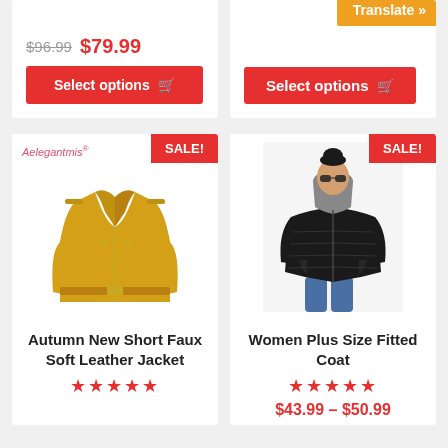$96.99 $79.99
Select options
Translate »
Select options
[Figure (photo): Yellow faux leather biker jacket on white background with Aelegantmis brand label]
SALE!
[Figure (photo): Woman wearing black quilted/puffer fitted coat with hood and sunglasses]
SALE!
Autumn New Short Faux Soft Leather Jacket
★★★★★
Women Plus Size Fitted Coat
★★★★★
$43.99 – $50.99